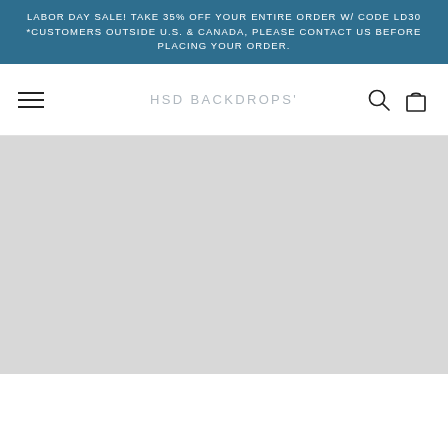LABOR DAY SALE! TAKE 35% OFF YOUR ENTIRE ORDER W/ CODE LD30 *CUSTOMERS OUTSIDE U.S. & CANADA, PLEASE CONTACT US BEFORE PLACING YOUR ORDER.
[Figure (screenshot): Website navigation bar with hamburger menu on left, HSD BACKDROPS' brand name in center, search and cart icons on right]
[Figure (other): Large light gray placeholder image area below the navigation bar]